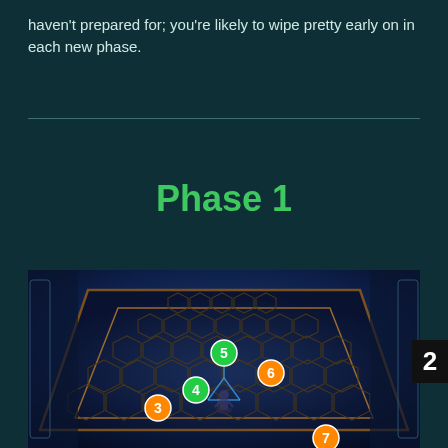haven't prepared for; you're likely to wipe pretty early on in each new phase.
Phase 1
[Figure (screenshot): In-game screenshot of a hexagonal arena floor with numbered position markers: green circle 5 in center, orange circle 6 to the right, green circle 4 lower-center, orange circle 3 lower-left, and partially visible orange circle 7 at bottom-right. A character figure stands near the center of the hex grid.]